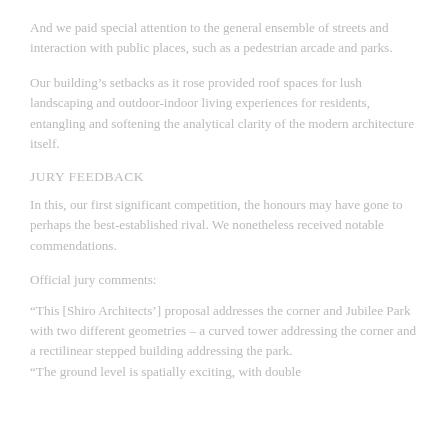And we paid special attention to the general ensemble of streets and interaction with public places, such as a pedestrian arcade and parks.
Our building's setbacks as it rose provided roof spaces for lush landscaping and outdoor-indoor living experiences for residents, entangling and softening the analytical clarity of the modern architecture itself.
JURY FEEDBACK
In this, our first significant competition, the honours may have gone to perhaps the best-established rival. We nonetheless received notable commendations.
Official jury comments:
“This [Shiro Architects’] proposal addresses the corner and Jubilee Park with two different geometries – a curved tower addressing the corner and a rectilinear stepped building addressing the park.
“The ground level is spatially exciting, with double